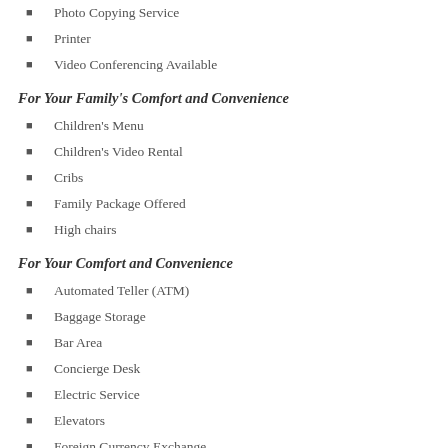Photo Copying Service
Printer
Video Conferencing Available
For Your Family's Comfort and Convenience
Children's Menu
Children's Video Rental
Cribs
Family Package Offered
High chairs
For Your Comfort and Convenience
Automated Teller (ATM)
Baggage Storage
Bar Area
Concierge Desk
Electric Service
Elevators
Foreign Currency Exchange